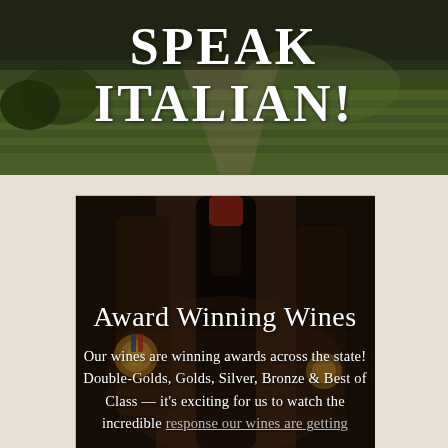[Figure (photo): Aerial or ground-level view of Italian vineyard landscape with green hills and rows of crops, dark olive-green tones]
SPEAK ITALIAN!
[Figure (photo): Close-up photo of dark wine bottles with medals/awards hanging from their necks, blurred warm brown background]
Award Winning Wines
Our wines are winning awards across the state! Double-Golds, Golds, Silver, Bronze & Best of Class — it's exciting for us to watch the incredible response our wines are getting.